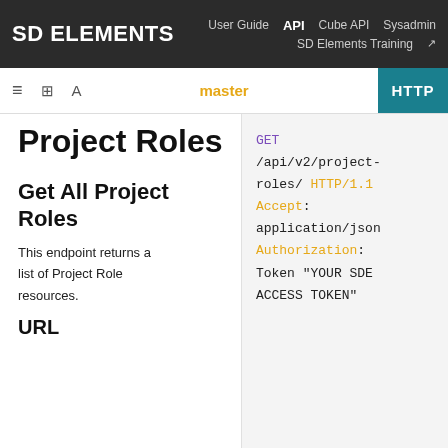SD ELEMENTS   User Guide  API  Cube API  Sysadmin  SD Elements Training
master
Project Roles
Get All Project Roles
This endpoint returns a list of Project Role resources.
URL
[Figure (screenshot): HTTP code block showing: GET /api/v2/project-roles/ HTTP/1.1 Accept: application/json Authorization: Token "YOUR SDE ACCESS TOKEN"]